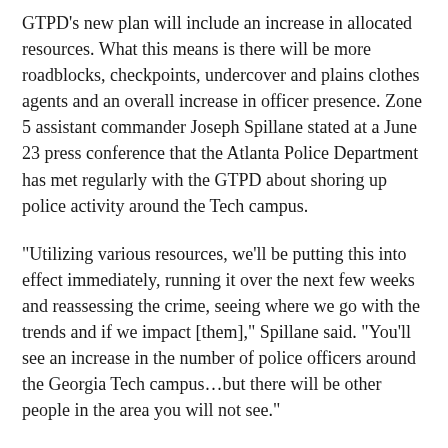GTPD's new plan will include an increase in allocated resources. What this means is there will be more roadblocks, checkpoints, undercover and plains clothes agents and an overall increase in officer presence. Zone 5 assistant commander Joseph Spillane stated at a June 23 press conference that the Atlanta Police Department has met regularly with the GTPD about shoring up police activity around the Tech campus.
“Utilizing various resources, we’ll be putting this into effect immediately, running it over the next few weeks and reassessing the crime, seeing where we go with the trends and if we impact [them],” Spillane said. “You’ll see an increase in the number of police officers around the Georgia Tech campus…but there will be other people in the area you will not see.”
Tech president Bud Peterson is also confident about the plan.